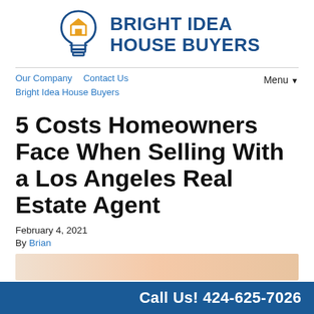[Figure (logo): Bright Idea House Buyers logo with lightbulb icon containing a house shape, dark blue color scheme]
Our Company   Contact Us
Bright Idea House Buyers
Menu ▾
5 Costs Homeowners Face When Selling With a Los Angeles Real Estate Agent
February 4, 2021
By Brian
[Figure (photo): Partial image of people at bottom of page]
Call Us! 424-625-7026